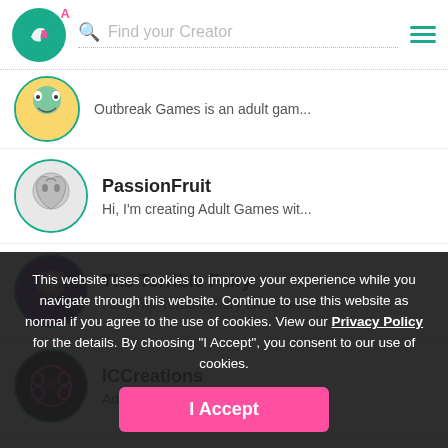[Figure (screenshot): App header with teal circular logo with white bird icon, letter A superscript in pink, search bar with placeholder 'Find your Creator', and teal hamburger menu icon]
Outbreak Games is an adult gam...
PassionFruit
Hi, I'm creating Adult Games wit...
The Terrible Fairy
I am The Terrible Fairy and I mak...
ICCreations
Adult Video Game Creator
This website uses cookies to improve your experience while you navigate through this website. Continue to use this website as normal if you agree to the use of cookies. View our Privacy Policy for the details. By choosing "I Accept", you consent to our use of cookies.
I Accept